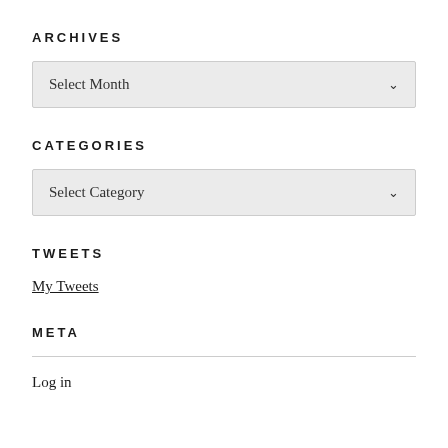ARCHIVES
Select Month
CATEGORIES
Select Category
TWEETS
My Tweets
META
Log in